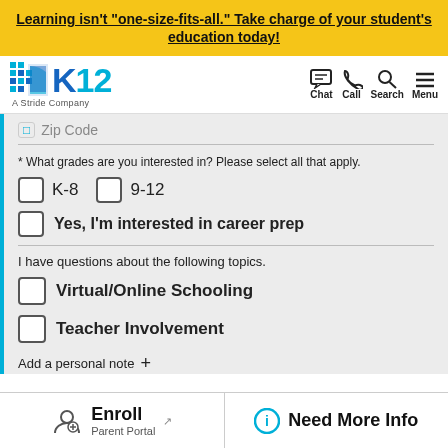Learning isn't "one-size-fits-all." Take charge of your student's education today!
[Figure (logo): K12 A Stride Company logo with chat, call, search, menu icons]
Zip Code
* What grades are you interested in? Please select all that apply.
K-8
9-12
Yes, I'm interested in career prep
I have questions about the following topics.
Virtual/Online Schooling
Teacher Involvement
Add a personal note +
Enroll Parent Portal
Need More Info